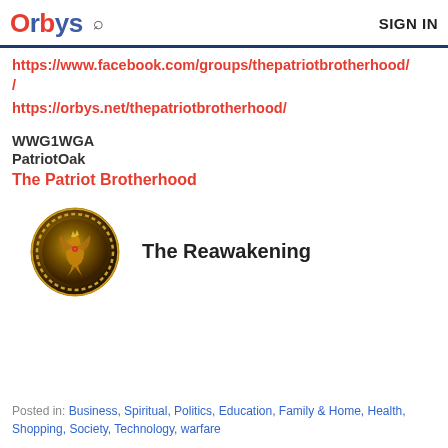Orbys | SIGN IN
https://www.facebook.com/groups/thepatriotbrotherhood/
https://orbys.net/thepatriotbrotherhood/
WWG1WGA
PatriotOak
The Patriot Brotherhood
[Figure (logo): Circular medallion logo with golden phoenix/bird symbol on dark background with ornate Greek key border pattern]
The Reawakening
Posted in: Business, Spiritual, Politics, Education, Family & Home, Health, Shopping, Society, Technology, warfare